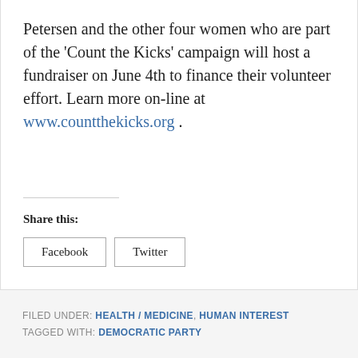Petersen and the other four women who are part of the 'Count the Kicks' campaign will host a fundraiser on June 4th to finance their volunteer effort. Learn more on-line at www.countthekicks.org .
Share this:
Facebook  Twitter
FILED UNDER: HEALTH / MEDICINE, HUMAN INTEREST
TAGGED WITH: DEMOCRATIC PARTY